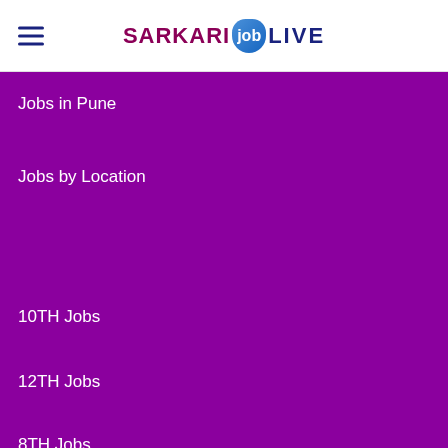SARKARI job LIVE
Jobs in Pune
Jobs by Location
10TH Jobs
12TH Jobs
8TH Jobs